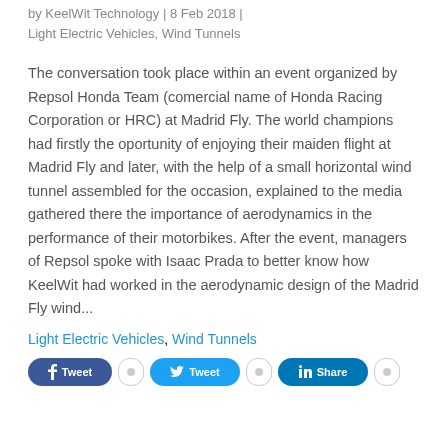by KeelWit Technology | 8 Feb 2018 | Light Electric Vehicles, Wind Tunnels
The conversation took place within an event organized by Repsol Honda Team (comercial name of Honda Racing Corporation or HRC) at Madrid Fly. The world champions had firstly the oportunity of enjoying their maiden flight at Madrid Fly and later, with the help of a small horizontal wind tunnel assembled for the occasion, explained to the media gathered there the importance of aerodynamics in the performance of their motorbikes. After the event, managers of Repsol spoke with Isaac Prada to better know how KeelWit had worked in the aerodynamic design of the Madrid Fly wind...
Light Electric Vehicles, Wind Tunnels
[Figure (other): Social sharing buttons: Facebook, Facebook count, Twitter, Twitter count, LinkedIn, LinkedIn count]